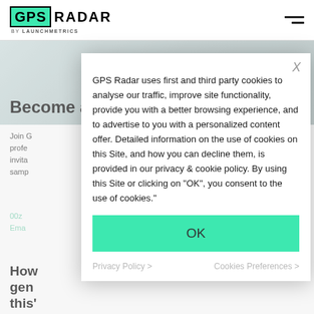[Figure (logo): GPS Radar by Launchmetrics logo with teal/green GPS box and RADAR text]
Become a GPS Radar member
Join G... profe... invita... samp...
GPS Radar uses first and third party cookies to analyse our traffic, improve site functionality, provide you with a better browsing experience, and to advertise to you with a personalized content offer. Detailed information on the use of cookies on this Site, and how you can decline them, is provided in our privacy & cookie policy. By using this Site or clicking on "OK", you consent to the use of cookies."
OK
Privacy Policy >
Cookies Preferences >